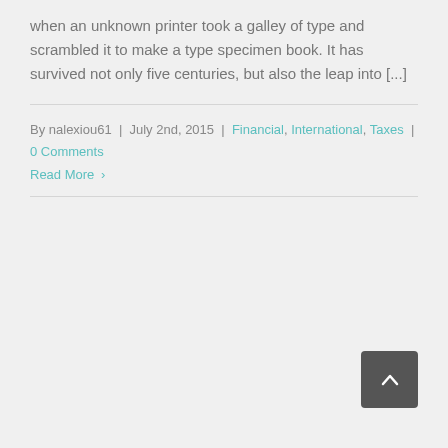when an unknown printer took a galley of type and scrambled it to make a type specimen book. It has survived not only five centuries, but also the leap into [...]
By nalexiou61 | July 2nd, 2015 | Financial, International, Taxes | 0 Comments
Read More